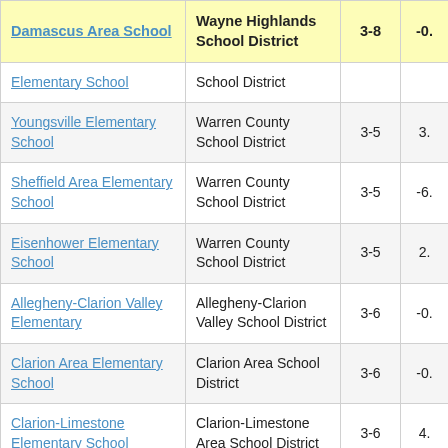| Damascus Area School | Wayne Highlands School District | 3-8 | -0. |
| --- | --- | --- | --- |
| Elementary School | School District |  |  |
| Youngsville Elementary School | Warren County School District | 3-5 | 3. |
| Sheffield Area Elementary School | Warren County School District | 3-5 | -6. |
| Eisenhower Elementary School | Warren County School District | 3-5 | 2. |
| Allegheny-Clarion Valley Elementary | Allegheny-Clarion Valley School District | 3-6 | -0. |
| Clarion Area Elementary School | Clarion Area School District | 3-6 | -0. |
| Clarion-Limestone Elementary School | Clarion-Limestone Area School District | 3-6 | 4. |